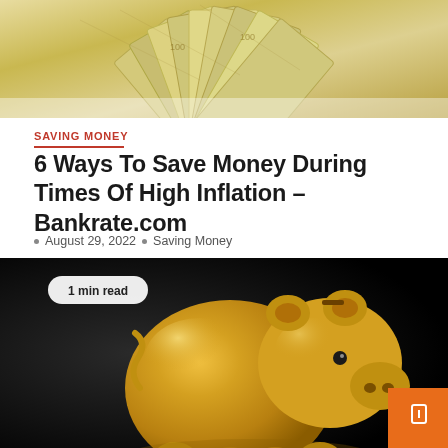[Figure (photo): Fan of US dollar bills spread out, top portion of image]
SAVING MONEY
6 Ways To Save Money During Times Of High Inflation – Bankrate.com
August 29, 2022  Saving Money
[Figure (photo): Gold metallic piggy bank on dark background with '1 min read' badge overlay and orange scroll button in bottom right]